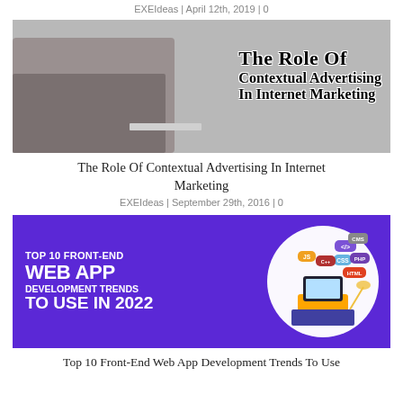EXEIdeas | April 12th, 2019 | 0
[Figure (photo): Banner image for article about Contextual Advertising in Internet Marketing, grey toned photo with bold text overlay reading 'The Role Of Contextual Advertising In Internet Marketing']
The Role Of Contextual Advertising In Internet Marketing
EXEIdeas | September 29th, 2016 | 0
[Figure (infographic): Purple banner image for article about Top 10 Front-End Web App Development Trends To Use In 2022, with developer and tech icons on right side]
Top 10 Front-End Web App Development Trends To Use